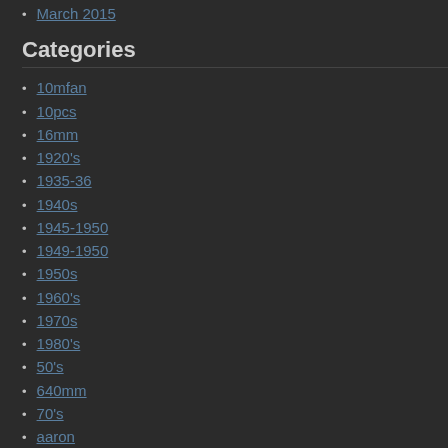March 2015
Categories
10mfan
10pcs
16mm
1920's
1935-36
1940s
1945-1950
1949-1950
1950s
1960's
1970s
1980's
50's
640mm
70's
aaron
absolutely
adele
adolphe
aizen